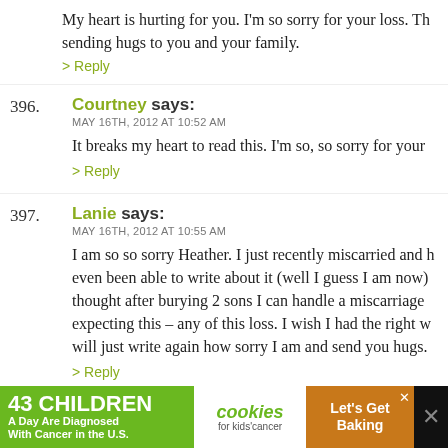My heart is hurting for you. I'm so sorry for your loss. Th sending hugs to you and your family.
> Reply
396. Courtney says: MAY 16TH, 2012 AT 10:52 AM — It breaks my heart to read this. I'm so, so sorry for your
> Reply
397. Lanie says: MAY 16TH, 2012 AT 10:55 AM — I am so so sorry Heather. I just recently miscarried and h even been able to write about it (well I guess I am now) thought after burying 2 sons I can handle a miscarriage expecting this – any of this loss. I wish I had the right w will just write again how sorry I am and send you hugs.
> Reply
[Figure (infographic): Advertisement banner: 43 CHILDREN A Day Are Diagnosed With Cancer in the U.S. — cookies for kids' cancer — Let's Get Baking]